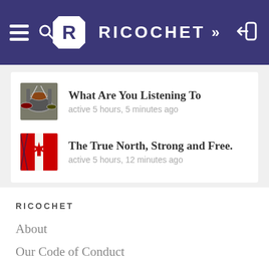RICOCHET
What Are You Listening To
active 5 hours, 5 minutes ago
The True North, Strong and Free.
active 5 hours, 12 minutes ago
RICOCHET
About
Our Code of Conduct
Our Privacy Policy
Our Terms and Conditions